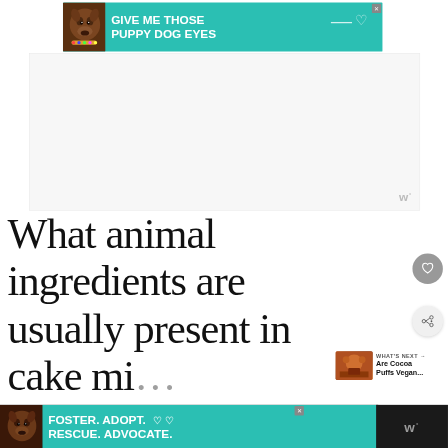[Figure (screenshot): Advertisement banner with teal background showing a dog and text 'GIVE ME THOSE PUPPY DOG EYES' with a heart icon]
[Figure (screenshot): White/light gray advertisement placeholder area with a 'w°' watermark logo in bottom right]
What animal ingredients are usually present in cake mi...
[Figure (screenshot): Gray circle button with heart icon (save/like button)]
[Figure (screenshot): White circle button with share icon]
[Figure (screenshot): WHAT'S NEXT panel showing thumbnail and text 'Are Cocoa Puffs Vegan...']
[Figure (screenshot): Bottom advertisement banner with dark background, dog image, teal section with text 'FOSTER. ADOPT. RESCUE. ADVOCATE.' and heart icons, plus close button, and w° logo on right]